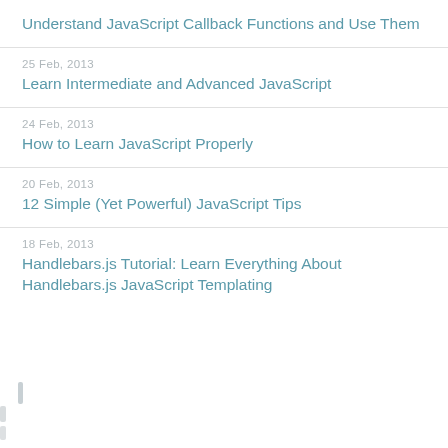Understand JavaScript Callback Functions and Use Them
25 Feb, 2013
Learn Intermediate and Advanced JavaScript
24 Feb, 2013
How to Learn JavaScript Properly
20 Feb, 2013
12 Simple (Yet Powerful) JavaScript Tips
18 Feb, 2013
Handlebars.js Tutorial: Learn Everything About Handlebars.js JavaScript Templating